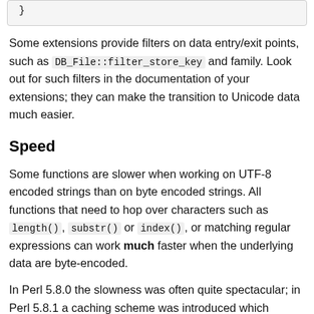}
Some extensions provide filters on data entry/exit points, such as DB_File::filter_store_key and family. Look out for such filters in the documentation of your extensions; they can make the transition to Unicode data much easier.
Speed
Some functions are slower when working on UTF-8 encoded strings than on byte encoded strings. All functions that need to hop over characters such as length(), substr() or index(), or matching regular expressions can work much faster when the underlying data are byte-encoded.
In Perl 5.8.0 the slowness was often quite spectacular; in Perl 5.8.1 a caching scheme was introduced which improved the situation. In general, operations with UTF-8 encoded strings are still slower. As an example, the